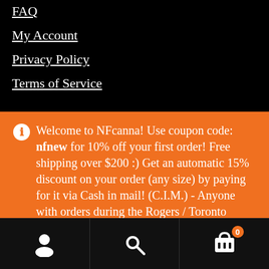FAQ
My Account
Privacy Policy
Terms of Service
Welcome to NFcanna! Use coupon code: nfnew for 10% off your first order! Free shipping over $200 :) Get an automatic 15% discount on your order (any size) by paying for it via Cash in mail! (C.I.M.) - Anyone with orders during the Rogers / Toronto internet outing go ahead and send the e transfer to the usual place when you can please. Thank you
Dismiss